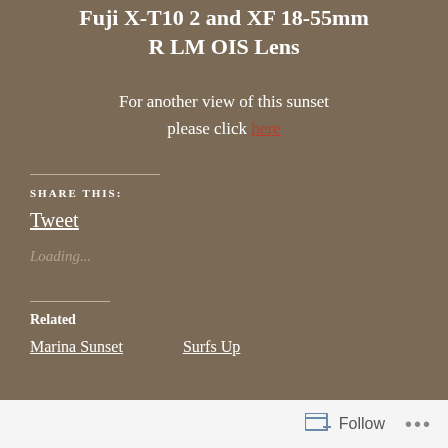Fuji X-T10 2 and XF 18-55mm R LM OIS Lens
For another view of this sunset please click here
SHARE THIS:
Tweet
Loading…
Related
Marina Sunset
Surfs Up
Follow